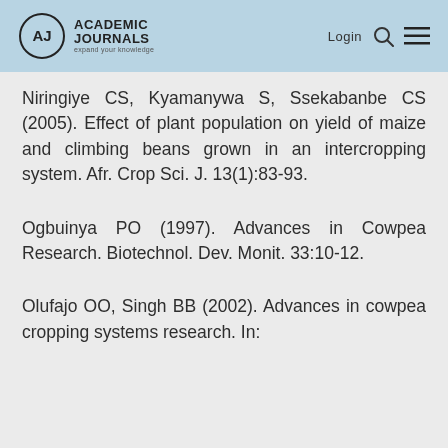Academic Journals — Login
Niringiye CS, Kyamanywa S, Ssekabanbe CS (2005). Effect of plant population on yield of maize and climbing beans grown in an intercropping system. Afr. Crop Sci. J. 13(1):83-93.
Ogbuinya PO (1997). Advances in Cowpea Research. Biotechnol. Dev. Monit. 33:10-12.
Olufajo OO, Singh BB (2002). Advances in cowpea cropping systems research. In: